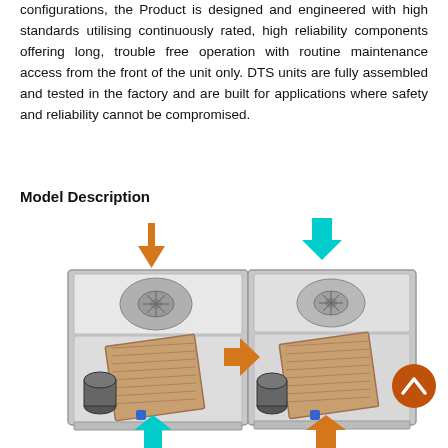configurations, the Product is designed and engineered with high standards utilising continuously rated, high reliability components offering long, trouble free operation with routine maintenance access from the front of the unit only. DTS units are fully assembled and tested in the factory and are built for applications where safety and reliability cannot be compromised.
Model Description
[Figure (engineering-diagram): Two 3D cutaway diagrams of DTS HVAC/cooling units showing internal components. Left unit has a downward orange arrow on top inlet and a cyan upward arrow on bottom outlet. Right unit has a cyan upward arrow on top outlet and an orange rightward arrow on the side inlet and an orange downward arrow on the bottom. Both units show fan, heat exchanger coil, compressor and internal components. An orange circular button with a chevron/up arrow is shown at the far right.]